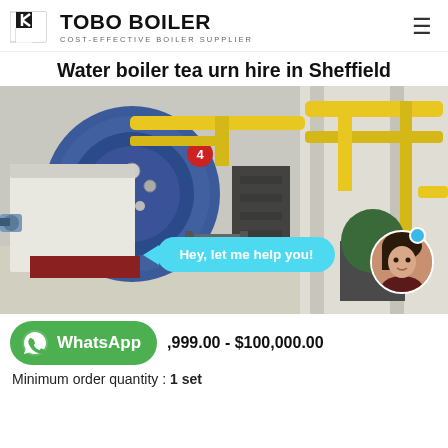TOBO BOILER — COST-EFFECTIVE BOILER SUPPLIER
Water boiler tea urn hire in Sheffield
[Figure (photo): Industrial boiler room with large blue cylindrical boiler unit, yellow pipes, metal staircases, and a chat bubble overlay reading 'Hey, let me help you!' with a customer service avatar in the bottom right corner.]
,999.00 - $100,000.00
Minimum order quantity : 1 set